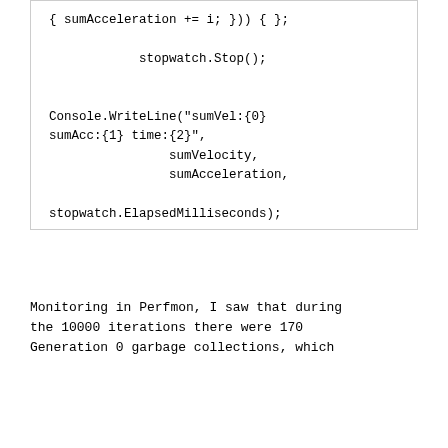[Figure (other): Code block showing C# code with sumAcceleration, stopwatch.Stop(), Console.WriteLine and stopwatch.ElapsedMilliseconds statements]
Monitoring in Perfmon, I saw that during the 10000 iterations there were 170 Generation 0 garbage collections, which